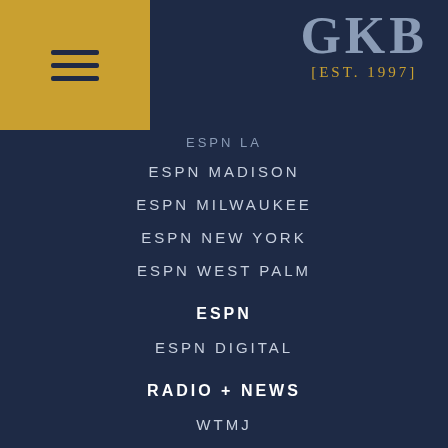[Figure (logo): Hamburger menu icon on gold/yellow background, top-left corner]
[Figure (logo): GKB [EST. 1997] logo in grey and gold, top-right corner]
ESPN LA (partially visible)
ESPN MADISON
ESPN MILWAUKEE
ESPN NEW YORK
ESPN WEST PALM
ESPN
ESPN DIGITAL
RADIO + NEWS
WTMJ
WBEV + WXRO
DAILY DODGE
CHILDREN'S RADIOTHON
THE TRUTH